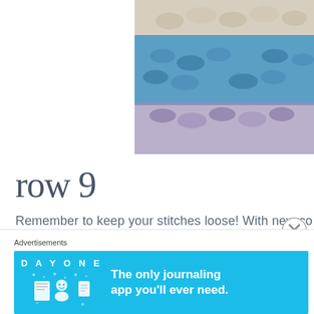[Figure (photo): Close-up of crochet stitches in blue, cream, and purple yarn, partially cropped at the top right of the page]
row 9
Remember to keep your stitches loose!  With new co
[Figure (photo): Pink yarn or crochet hook visible at the right edge of the page, partially cropped]
Advertisements
[Figure (infographic): Day One journaling app advertisement banner with text: The only journaling app you'll ever need.]